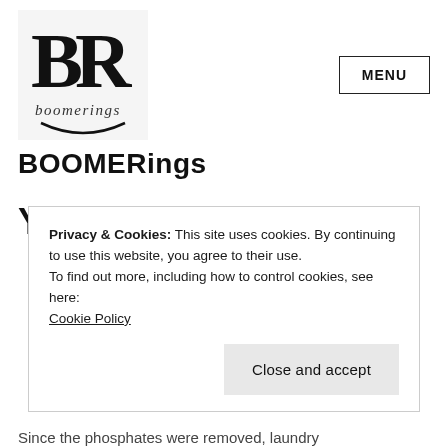[Figure (logo): BOOMERings logo with large stylized B and R letters and cursive boomerings text below, on light gray background]
BOOMERings
Ya Gotta Start
Privacy & Cookies: This site uses cookies. By continuing to use this website, you agree to their use.
To find out more, including how to control cookies, see here:
Cookie Policy
Close and accept
Since the phosphates were removed, laundry